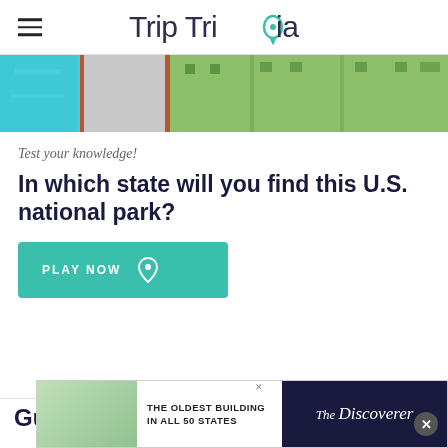Trip Trivia
[Figure (photo): Tropical waterway scene with turquoise water, brick pathway, and colorful yellow-green buildings]
Test your knowledge!
In which state will you find this U.S. national park?
[Figure (other): PLAY NOW button with map pin icon, teal/green background]
Gulab Jamun
[Figure (other): Advertisement banner: THE OLDEST BUILDING IN ALL 50 STATES - The Discoverer]